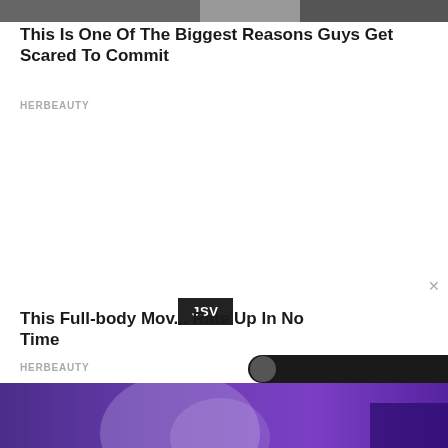[Figure (photo): Top cropped photo strip showing blurred content]
This Is One Of The Biggest Reasons Guys Get Scared To Commit
HERBEAUTY
×
JSV
This Full-body Mov... Rate Up In No Time
HERBEAUTY
[Figure (photo): Bottom photo with purple/blue gradient background showing person with colored hair]